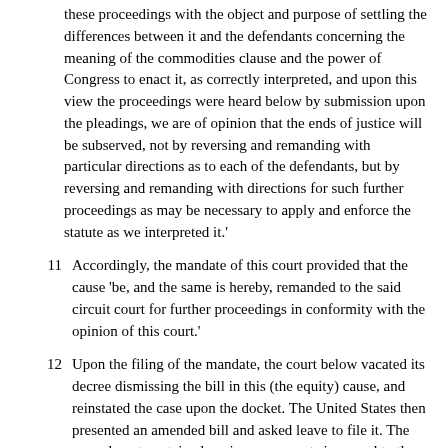these proceedings with the object and purpose of settling the differences between it and the defendants concerning the meaning of the commodities clause and the power of Congress to enact it, as correctly interpreted, and upon this view the proceedings were heard below by submission upon the pleadings, we are of opinion that the ends of justice will be subserved, not by reversing and remanding with particular directions as to each of the defendants, but by reversing and remanding with directions for such further proceedings as may be necessary to apply and enforce the statute as we interpreted it.'
11 Accordingly, the mandate of this court provided that the cause 'be, and the same is hereby, remanded to the said circuit court for further proceedings in conformity with the opinion of this court.'
12 Upon the filing of the mandate, the court below vacated its decree dismissing the bill in this (the equity) cause, and reinstated the case upon the docket. The United States then presented an amended bill and asked leave to file it. The amendment contained copious averments in regard to the actual relations existing between the railroad company and one of the coal companies mentioned in the original bill, viz., the Lehigh Valley Coal Company. In substance it was averred that as to this particular coal company, the railroad